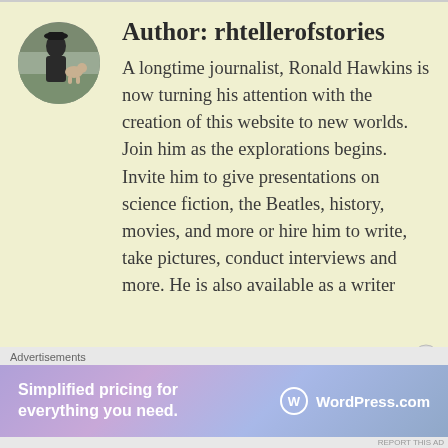Author: rhtellerofstories
[Figure (photo): Circular avatar photo of Ronald Hawkins, a person outdoors with a dog]
A longtime journalist, Ronald Hawkins is now turning his attention with the creation of this website to new worlds. Join him as the explorations begins. Invite him to give presentations on science fiction, the Beatles, history, movies, and more or hire him to write, take pictures, conduct interviews and more. He is also available as a writer
Advertisements
[Figure (other): WordPress.com advertisement banner: 'Simplified pricing for everything you need.' with WordPress.com logo]